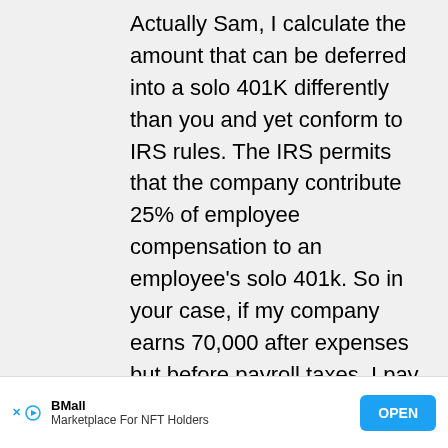Actually Sam, I calculate the amount that can be deferred into a solo 401K differently than you and yet conform to IRS rules. The IRS permits that the company contribute 25% of employee compensation to an employee's solo 401k. So in your case, if my company earns 70,000 after expenses but before payroll taxes, I pay myself $65,000 on a W-2. The companies expenses are further increased by payroll taxes of $4,972.50. The company contributes $16,250 to my 401K and i contribute the max which if under 50 years of age is $18,000, for a t...
[Figure (other): Advertisement banner: BMall - Marketplace For NFT Holders with OPEN button]